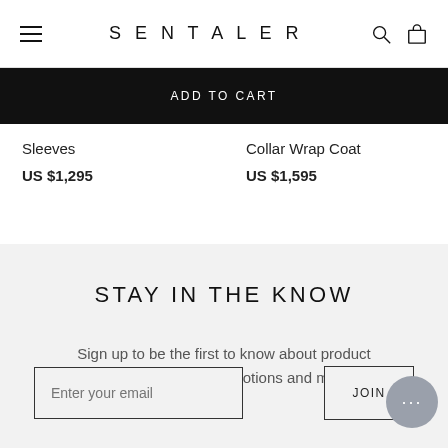SENTALER
ADD TO CART
Sleeves
US $1,295
Collar Wrap Coat
US $1,595
STAY IN THE KNOW
Sign up to be the first to know about product announcements, promotions and more.
Enter your email
JOIN